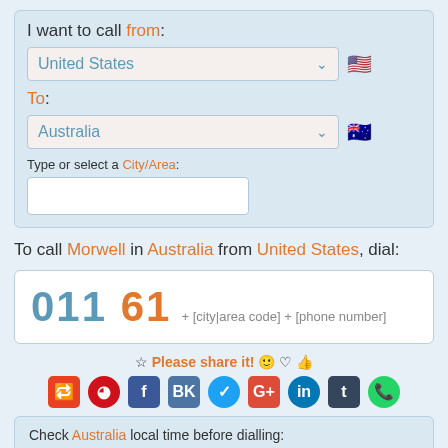I want to call from:
United States
To:
Australia
Type or select a City/Area:
To call Morwell in Australia from United States, dial:
011 61 + [city|area code] + [phone number]
Please share it!
Check Australia local time before dialling: